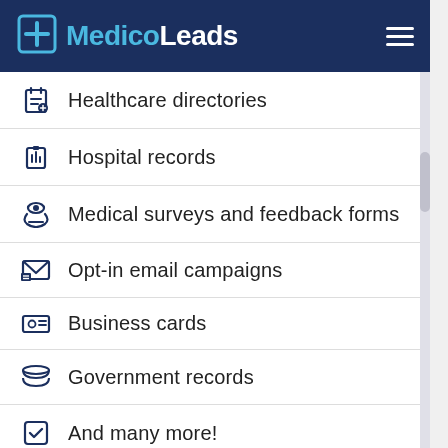MedicoLeads
Healthcare directories
Hospital records
Medical surveys and feedback forms
Opt-in email campaigns
Business cards
Government records
And many more!